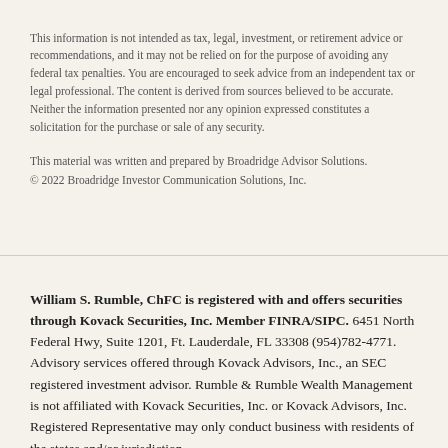This information is not intended as tax, legal, investment, or retirement advice or recommendations, and it may not be relied on for the purpose of avoiding any federal tax penalties. You are encouraged to seek advice from an independent tax or legal professional. The content is derived from sources believed to be accurate. Neither the information presented nor any opinion expressed constitutes a solicitation for the purchase or sale of any security.
This material was written and prepared by Broadridge Advisor Solutions. © 2022 Broadridge Investor Communication Solutions, Inc.
William S. Rumble, ChFC is registered with and offers securities through Kovack Securities, Inc. Member FINRA/SIPC. 6451 North Federal Hwy, Suite 1201, Ft. Lauderdale, FL 33308 (954)782-4771. Advisory services offered through Kovack Advisors, Inc., an SEC registered investment advisor. Rumble & Rumble Wealth Management is not affiliated with Kovack Securities, Inc. or Kovack Advisors, Inc.  Registered Representative may only conduct business with residents of the states and/or jurisdiction